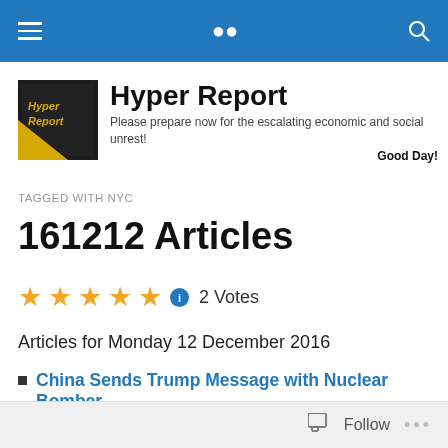Hyper Report (navigation bar)
Hyper Report
Please prepare now for the escalating economic and social unrest! Good Day!
TAGGED WITH NYC
161212 Articles
2 Votes
Articles for Monday 12 December 2016
China Sends Trump Message with Nuclear Bomber
China flew a nuclear-capable bomber over the
Follow